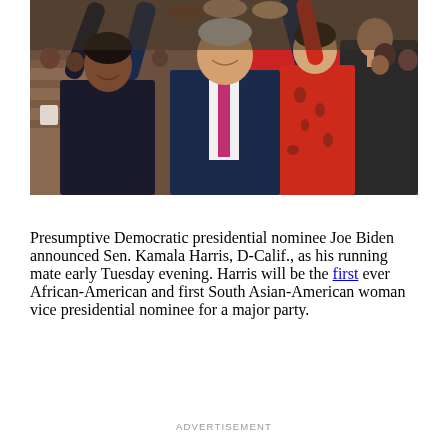[Figure (photo): Photo of Joe Biden, Kamala Harris, and others on stage with raised and joined hands in celebration at a campaign event. Harris is on the left in a dark navy outfit, Biden is in the center in a dark blue suit with a pink tie, and a woman in a red patterned dress is on the right.]
Presumptive Democratic presidential nominee Joe Biden announced Sen. Kamala Harris, D-Calif., as his running mate early Tuesday evening. Harris will be the first ever African-American and first South Asian-American woman vice presidential nominee for a major party.
ADVERTISEMENT